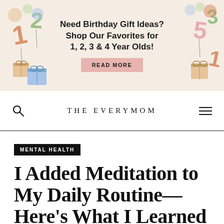[Figure (other): Advertisement banner with pastel background showing birthday gift illustrations (balloon numbers, wrapped gifts in colors of orange, green, blue, pink) on left and right sides. Center text reads 'Need Birthday Gift Ideas? Shop Our Favorites for 1, 2, 3 & 4 Year Olds!' with a pink 'READ MORE' button.]
THE EVERYMOM
MENTAL HEALTH
I Added Meditation to My Daily Routine—Here's What I Learned